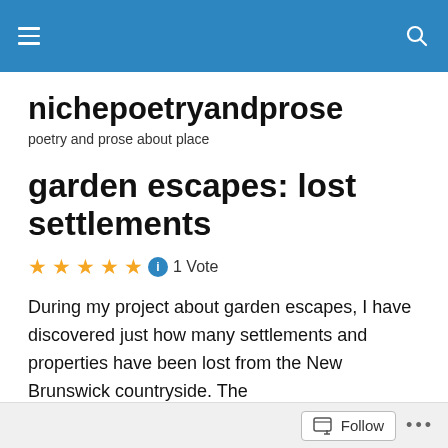nichepoetryandprose – navigation header with hamburger menu and search icon
nichepoetryandprose
poetry and prose about place
garden escapes: lost settlements
★★★★★ ⓘ 1 Vote
During my project about garden escapes, I have discovered just how many settlements and properties have been lost from the New Brunswick countryside. The
Follow ...